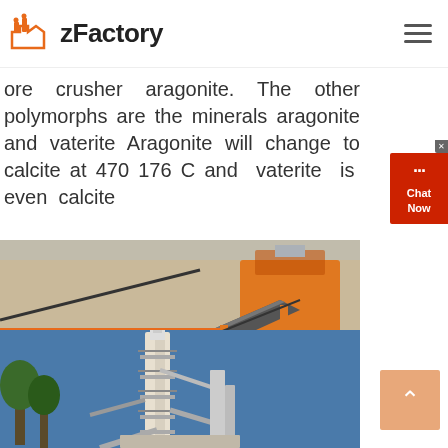zFactory
ore crusher aragonite. The other polymorphs are the minerals aragonite and vaterite Aragonite will change to calcite at 470 176 C and vaterite is even calcite
[Figure (photo): Mining/crushing plant with orange conveyor belts and machinery]
[Figure (photo): Industrial factory tower with blue sky background]